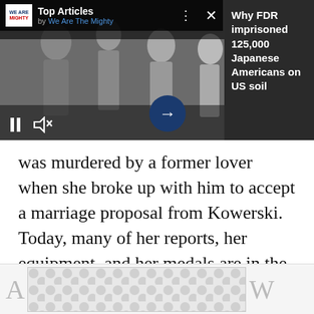[Figure (screenshot): Top Articles banner ad by We Are The Mighty showing a grayscale photo of Japanese American children with media controls, and right panel with text 'Why FDR imprisoned 125,000 Japanese Americans on US soil']
collections of the Imperial War Museum.
was murdered by a former lover when she broke up with him to accept a marriage proposal from Kowerski. Today, many of her reports, her equipment, and her medals are in the collections of the Imperial War Museum.
[Figure (other): Bottom advertisement placeholder with decorative dot pattern]